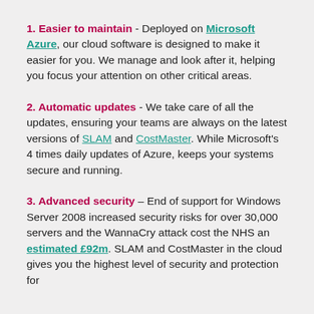1. Easier to maintain - Deployed on Microsoft Azure, our cloud software is designed to make it easier for you. We manage and look after it, helping you focus your attention on other critical areas.
2. Automatic updates - We take care of all the updates, ensuring your teams are always on the latest versions of SLAM and CostMaster. While Microsoft's 4 times daily updates of Azure, keeps your systems secure and running.
3. Advanced security - End of support for Windows Server 2008 increased security risks for over 30,000 servers and the WannaCry attack cost the NHS an estimated £92m. SLAM and CostMaster in the cloud gives you the highest level of security and protection for